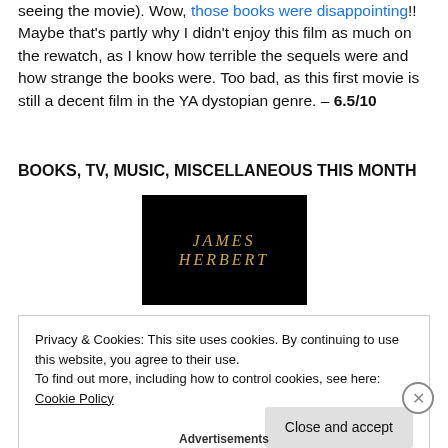seeing the movie). Wow, those books were disappointing!! Maybe that's partly why I didn't enjoy this film as much on the rewatch, as I know how terrible the sequels were and how strange the books were. Too bad, as this first movie is still a decent film in the YA dystopian genre. – 6.5/10
BOOKS, TV, MUSIC, MISCELLANEOUS THIS MONTH
[Figure (photo): Black background image with golden italic text reading JAMES HERBERT]
Privacy & Cookies: This site uses cookies. By continuing to use this website, you agree to their use.
To find out more, including how to control cookies, see here: Cookie Policy
Advertisements